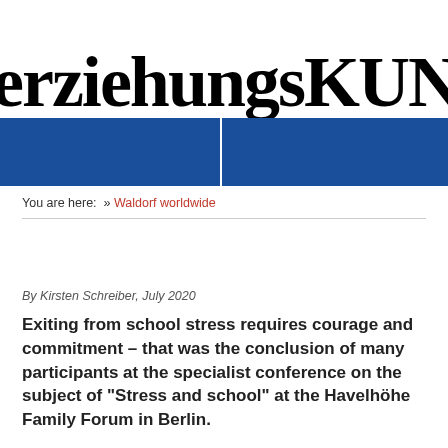erziehungsKUNST
[Figure (other): Blue banner with white vertical divider separating two blue panels]
You are here: » Waldorf worldwide
By Kirsten Schreiber, July 2020
Exiting from school stress requires courage and commitment – that was the conclusion of many participants at the specialist conference on the subject of "Stress and school" at the Havelhöhe Family Forum in Berlin.